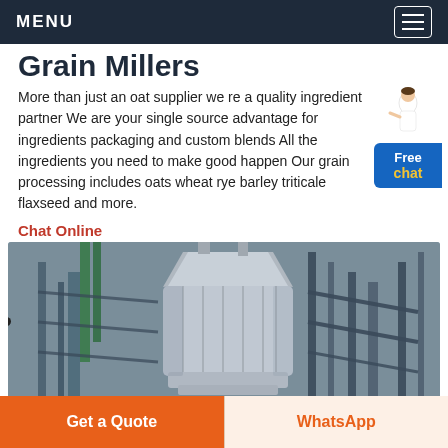MENU
Grain Millers
More than just an oat supplier we re a quality ingredient partner We are your single source advantage for ingredients packaging and custom blends All the ingredients you need to make good happen Our grain processing includes oats wheat rye barley triticale flaxseed and more.
Chat Online
[Figure (photo): Industrial grain milling facility showing large cylindrical mill equipment with metal framework and pipes]
Get a Quote
WhatsApp